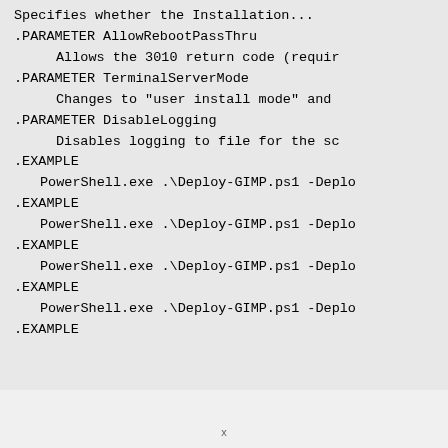.PARAMETER AllowRebootPassThru
        Allows the 3010 return code (requir
.PARAMETER TerminalServerMode
        Changes to "user install mode" and
.PARAMETER DisableLogging
        Disables logging to file for the sc
.EXAMPLE
    PowerShell.exe .\Deploy-GIMP.ps1 -Deplo
.EXAMPLE
    PowerShell.exe .\Deploy-GIMP.ps1 -Deplo
.EXAMPLE
    PowerShell.exe .\Deploy-GIMP.ps1 -Deplo
.EXAMPLE
    PowerShell.exe .\Deploy-GIMP.ps1 -Deplo
.EXAMPLE
x